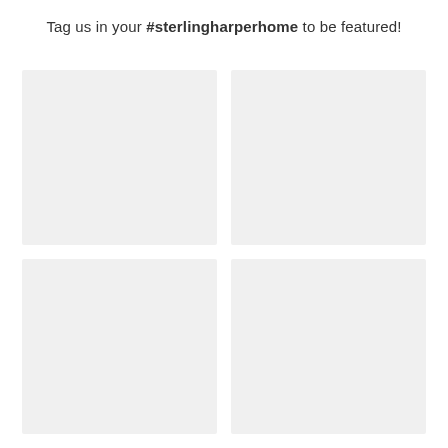Tag us in your #sterlingharperhome to be featured!
[Figure (photo): Empty light grey placeholder image box, top-left]
[Figure (photo): Empty light grey placeholder image box, top-right]
[Figure (photo): Empty light grey placeholder image box, bottom-left]
[Figure (photo): Empty light grey placeholder image box, bottom-right]